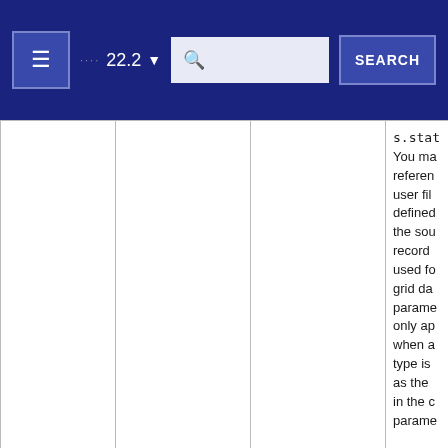≡  ···· 22.2 ▾  [search box]  SEARCH
|  |  |  |  |
| --- | --- | --- | --- |
|  |  |  | s.sta...
You ma reference user fil defined the sou record used fo grid da parame only ap when a type is as the in the c parame |
| Show search box | showSearchBox | Boolean | Determ the re search |